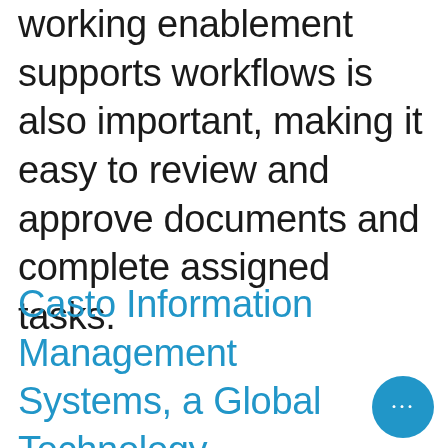working enablement supports workflows is also important, making it easy to review and approve documents and complete assigned tasks.
Casto Information Management Systems, a Global Technology Solutions Company was founded in 1996 and owned and operated by